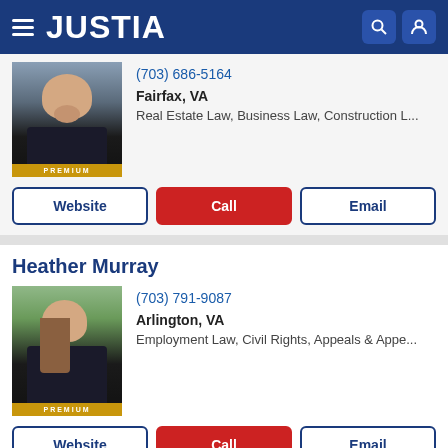JUSTIA
(703) 686-5164
Fairfax, VA
Real Estate Law, Business Law, Construction L...
Website | Call | Email
Heather Murray
(703) 791-9087
Arlington, VA
Employment Law, Civil Rights, Appeals & Appe...
Website | Call | Email
Faraji A. Rosenthall